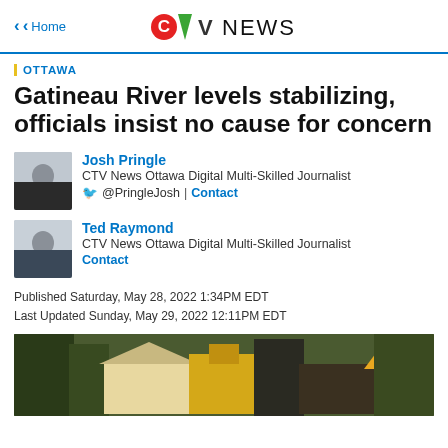CTV News
OTTAWA
Gatineau River levels stabilizing, officials insist no cause for concern
Josh Pringle
CTV News Ottawa Digital Multi-Skilled Journalist
@PringleJosh | Contact
Ted Raymond
CTV News Ottawa Digital Multi-Skilled Journalist
Contact
Published Saturday, May 28, 2022 1:34PM EDT
Last Updated Sunday, May 29, 2022 12:11PM EDT
[Figure (photo): Photo of flooding/construction scene near Gatineau River with yellow construction equipment and a small house]